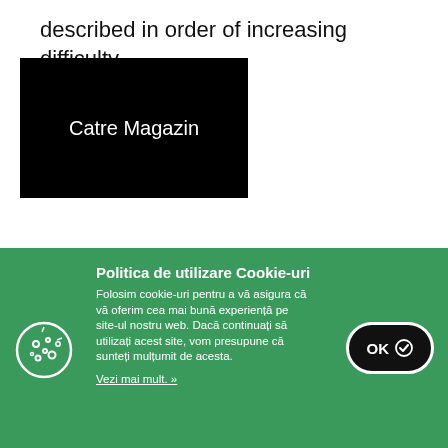described in order of increasing difficulty.
[Figure (other): Black button labeled 'Catre Magazin']
[Figure (other): White box with border (empty content area)]
Politica de utilizare Cookie-uri
Folosim cookie-uri pentru a vă asigura că vă oferim cea mai bună experiență pe site-ul nostru web. Dacă continuați să utilizați acest site, vom presupune că sunteți mulțumit de acesta.
Vezi mai mult. »